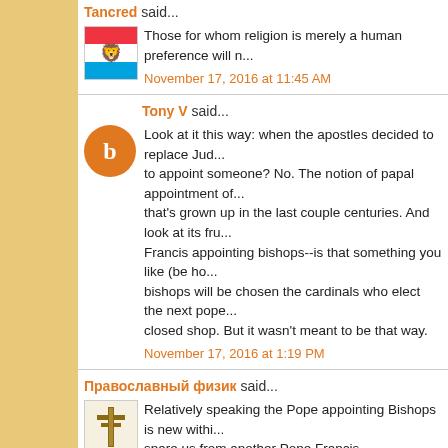Tancred said...
Those for whom religion is merely a human preference will n...
November 17, 2016 at 11:45 AM
Tony V said...
Look at it this way: when the apostles decided to replace Jud... to appoint someone? No. The notion of papal appointment of... that's grown up in the last couple centuries. And look at its fru... Francis appointing bishops--is that something you like (be ho... bishops will be chosen the cardinals who elect the next pope... closed shop. But it wasn't meant to be that way.
November 17, 2016 at 1:19 PM
Православный физик said...
Relatively speaking the Pope appointing Bishops is new withi... spare us from another Pope Francis.
November 17, 2016 at 7:24 PM
Anonymous said...
Ditto, Bergoglio is enough per omnia saecula saeculorum.